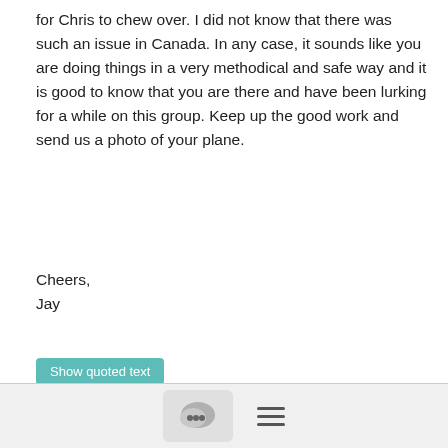for Chris to chew over. I did not know that there was such an issue in Canada. In any case, it sounds like you are doing things in a very methodical and safe way and it is good to know that you are there and have been lurking for a while on this group. Keep up the good work and send us a photo of your plane.
Cheers,
Jay
Show quoted text
≡ More
9/29/21
Chris Walterson
Brent-----------  If I use the fuselage in my calculations, along with my extended wing and canard I am a bit under the high performance rating.  If they don't accept this, I would think I would